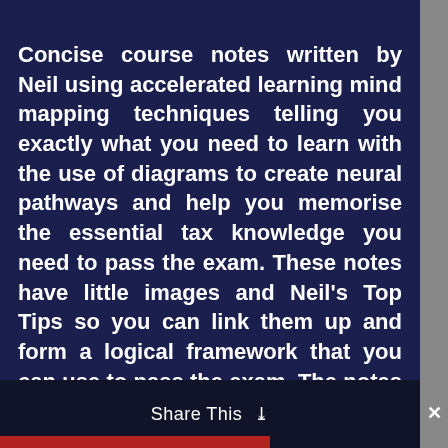Concise course notes written by Neil using accelerated learning mind mapping techniques telling you exactly what you need to learn with the use of diagrams to create neural pathways and help you memorise the essential tax knowledge you need to pass the exam. These notes have little images and Neil’s Top Tips so you can link them up and form a logical framework that you can use to pass the exam. The notes also form a useful reference document for qualified accountants who want to access the current tax legislation without having to wade through multiple publications or trawl the internet.
Share This ⌄